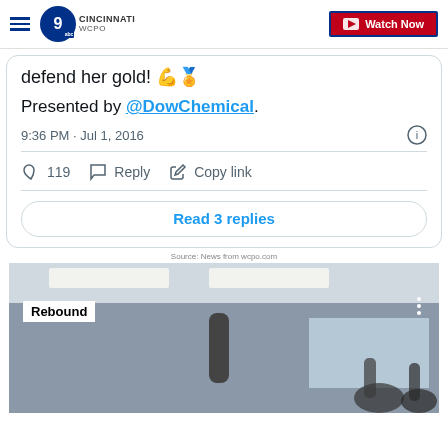WCPO Cincinnati — Watch Now
defend her gold! 💪🥇
Presented by @DowChemical.
9:36 PM · Jul 1, 2016
♡ 119   Reply   Copy link
Read 3 replies
Source: News from wcpo.com
[Figure (photo): Interior of a gymnasium or recreation center with overhead lighting. A white badge reads 'Rebound' in the upper left. Three vertical dots menu icon in upper right.]